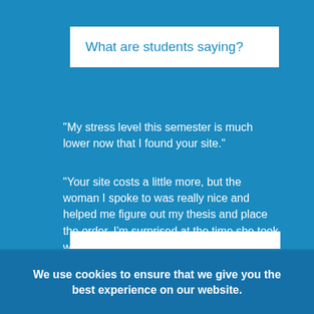What are students saying?
"My stress level this semester is much lower now that I found your site."
"Your site costs a little more, but the woman I spoke to was really nice and helped me figure out my thesis and place the order. I'm surprised at the time she took with me."
We use cookies to ensure that we give you the best experience on our website.